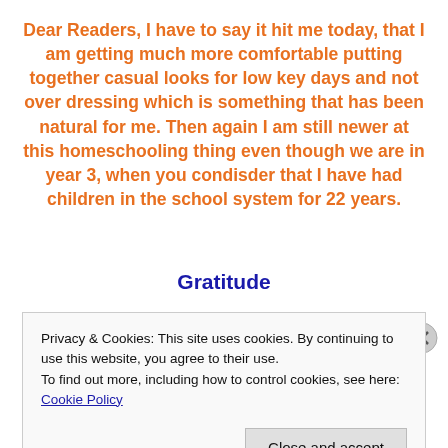Dear Readers, I have to say it hit me today, that I am getting much more comfortable putting together casual looks for low key days and not over dressing which is something that has been natural for me. Then again I am still newer at this homeschooling thing even though we are in year 3, when you condisder that I have had children in the school system for 22 years.
Gratitude
Privacy & Cookies: This site uses cookies. By continuing to use this website, you agree to their use.
To find out more, including how to control cookies, see here: Cookie Policy